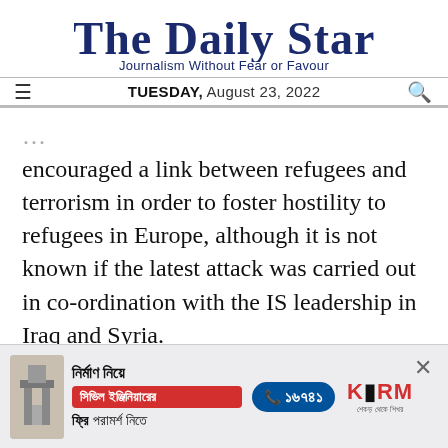The Daily Star — Journalism Without Fear or Favour — TUESDAY, August 23, 2022
encouraged a link between refugees and terrorism in order to foster hostility to refugees in Europe, although it is not known if the latest attack was carried out in co-ordination with the IS leadership in Iraq and Syria.
[Figure (other): Advertisement banner in Bengali for KSRM civil engineering consultation service with phone number 16741]